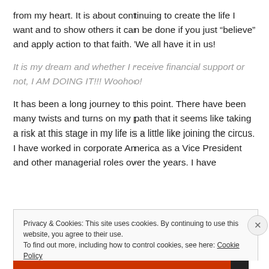from my heart. It is about continuing to create the life I want and to show others it can be done if you just “believe” and apply action to that faith. We all have it in us!
It is my dream and whether I receive financial support or not, I AM DOING IT!!! Woohoo!
It has been a long journey to this point. There have been many twists and turns on my path that it seems like taking a risk at this stage in my life is a little like joining the circus. I have worked in corporate America as a Vice President and other managerial roles over the years. I have
Privacy & Cookies: This site uses cookies. By continuing to use this website, you agree to their use.
To find out more, including how to control cookies, see here: Cookie Policy
Close and accept